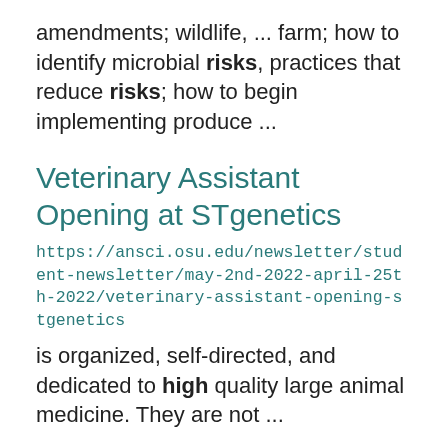amendments; wildlife, ... farm; how to identify microbial risks, practices that reduce risks; how to begin implementing produce ...
Veterinary Assistant Opening at STgenetics
https://ansci.osu.edu/newsletter/student-newsletter/may-2nd-2022-april-25th-2022/veterinary-assistant-opening-stgenetics
is organized, self-directed, and dedicated to high quality large animal medicine. They are not ...
Seminar